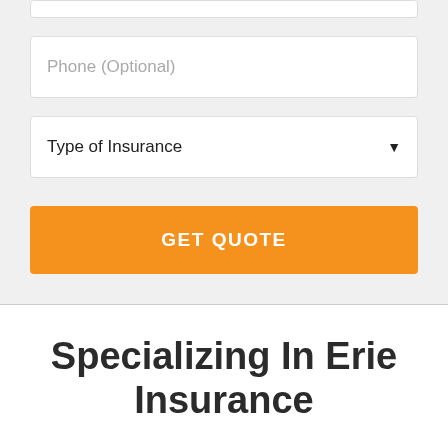[Figure (screenshot): Phone (Optional) input field with light gray background and white rounded rectangle input box]
[Figure (screenshot): Type of Insurance dropdown selector with white rounded rectangle and dropdown arrow on right]
[Figure (screenshot): GET QUOTE orange button with white bold uppercase text]
Specializing In Erie Insurance